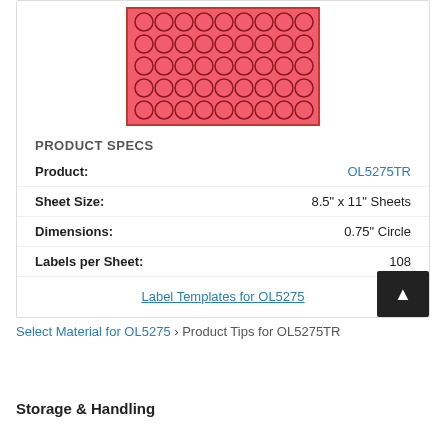[Figure (illustration): Red label sheet showing a grid of circular labels (0.75 inch circles) arranged in rows on a red background, representing product OL5275TR]
PRODUCT SPECS
| Spec | Value |
| --- | --- |
| Product: | OL5275TR |
| Sheet Size: | 8.5" x 11" Sheets |
| Dimensions: | 0.75" Circle |
| Labels per Sheet: | 108 |
Label Templates for OL5275
Select Material for OL5275 › Product Tips for OL5275TR
Storage & Handling